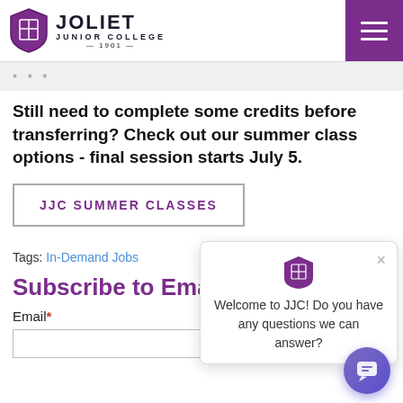Joliet Junior College
* * *
Still need to complete some credits before transferring? Check out our summer class options - final session starts July 5.
JJC SUMMER CLASSES
Tags: In-Demand Jobs
Subscribe to Email Updates
Email*